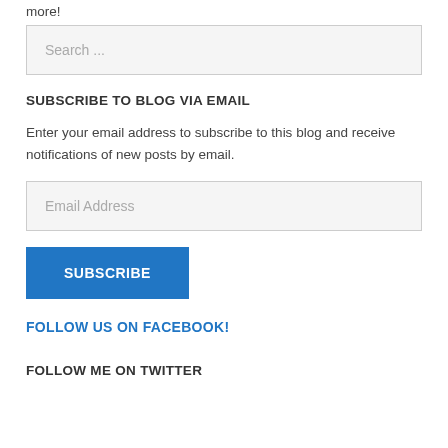more!
Search ...
SUBSCRIBE TO BLOG VIA EMAIL
Enter your email address to subscribe to this blog and receive notifications of new posts by email.
Email Address
SUBSCRIBE
FOLLOW US ON FACEBOOK!
FOLLOW ME ON TWITTER